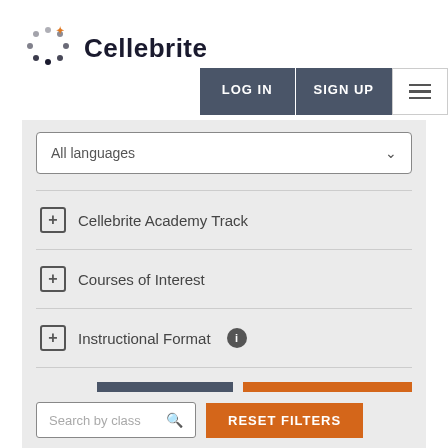[Figure (logo): Cellebrite logo with dot-circle icon and bold text 'Cellebrite']
LOG IN
SIGN UP
All languages
Cellebrite Academy Track
Courses of Interest
Instructional Format
SEARCH
RESET FILTERS
Search by class
RESET FILTERS